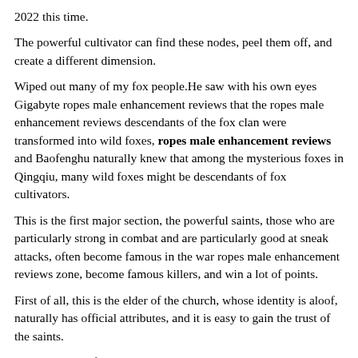2022 this time.
The powerful cultivator can find these nodes, peel them off, and create a different dimension.
Wiped out many of my fox people.He saw with his own eyes Gigabyte ropes male enhancement reviews that the ropes male enhancement reviews descendants of the fox clan were transformed into wild foxes, ropes male enhancement reviews and Baofenghu naturally knew that among the mysterious foxes in Qingqiu, many wild foxes might be descendants of fox cultivators.
This is the first major section, the powerful saints, those who are particularly strong in combat and are particularly good at sneak attacks, often become famous in the war ropes male enhancement reviews zone, become famous killers, and win a lot of points.
First of all, this is the elder of the church, whose identity is aloof, naturally has official attributes, and it is easy to gain the trust of the saints.
The evolution of Xingtian is battle spirit has greatly improved Fang Yun is combat effectiveness.
Different viarex reviews monks, different Blue ropes male enhancement reviews Stars, all have teams they support in their